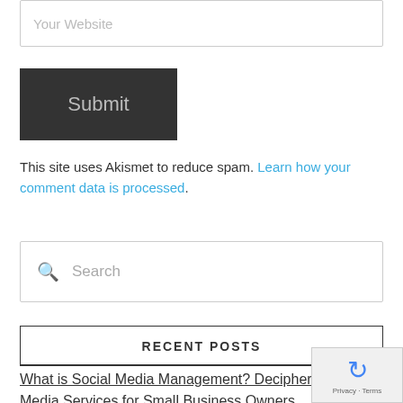Your Website
Submit
This site uses Akismet to reduce spam. Learn how your comment data is processed.
Search
RECENT POSTS
What is Social Media Management? Deciphering Social Media Services for Small Business Owners